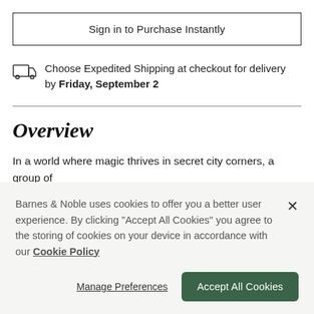Sign in to Purchase Instantly
Choose Expedited Shipping at checkout for delivery by Friday, September 2
Overview
In a world where magic thrives in secret city corners, a group of magicians embark on a road trip—and it's the "no-love-interest",
Barnes & Noble uses cookies to offer you a better user experience. By clicking "Accept All Cookies" you agree to the storing of cookies on your device in accordance with our Cookie Policy
Manage Preferences
Accept All Cookies